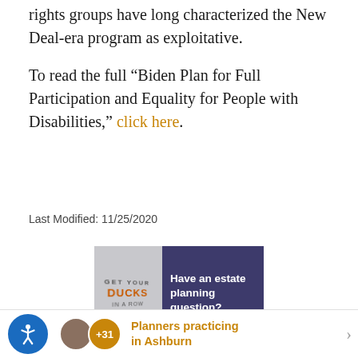rights groups have long characterized the New Deal-era program as exploitative.
To read the full “Biden Plan for Full Participation and Equality for People with Disabilities,” click here.
Last Modified: 11/25/2020
[Figure (screenshot): Promotional image split into two panels: left panel shows a book spine reading 'GET YOUR DUCKS IN A ROW' on a gray background; right panel shows dark purple/navy background with white bold text reading 'Have an estate planning question?']
Planners practicing in Ashburn